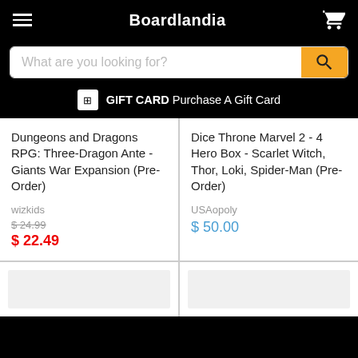Boardlandia
What are you looking for?
GIFT CARD Purchase A Gift Card
Dungeons and Dragons RPG: Three-Dragon Ante - Giants War Expansion (Pre-Order)
wizkids
$ 24.99
$ 22.49
Dice Throne Marvel 2 - 4 Hero Box - Scarlet Witch, Thor, Loki, Spider-Man (Pre-Order)
USAopoly
$ 50.00